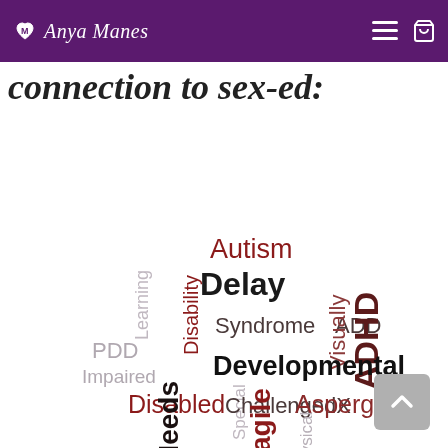Anya Manes
connection to sex-ed:
[Figure (infographic): Word cloud containing disability-related terms: Autism, Delay, Syndrome, ADD, Visually, ADHD, Developmental, ChallengedX, Aspergers, PDD, Learning, Disability, Impaired, Special, Disabled, Needs, Fragile, Physical]
Back to top button